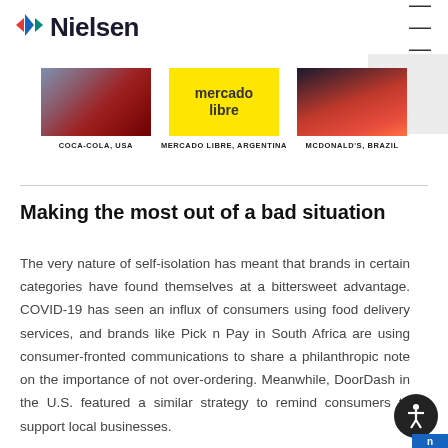Nielsen
[Figure (photo): Three brand case study thumbnails: Coca-Cola USA, Mercado Libre Argentina, McDonald's Brazil]
COCA-COLA, USA
MERCADO LIBRE, ARGENTINA
MCDONALD'S, BRAZIL
Making the most out of a bad situation
The very nature of self-isolation has meant that brands in certain categories have found themselves at a bittersweet advantage. COVID-19 has seen an influx of consumers using food delivery services, and brands like Pick n Pay in South Africa are using consumer-fronted communications to share a philanthropic note on the importance of not over-ordering. Meanwhile, DoorDash in the U.S. featured a similar strategy to remind consumers to support local businesses.